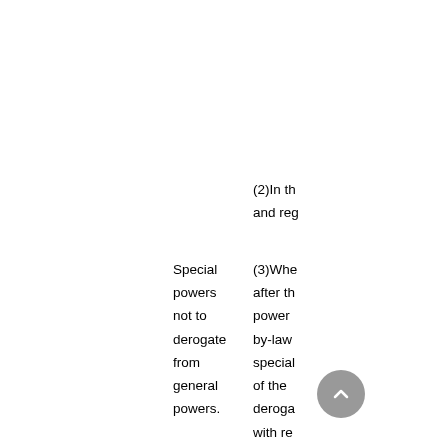(2)In th and reg
Special powers not to derogate from general powers.
(3)Whe after th power by-law special of the deroga with re